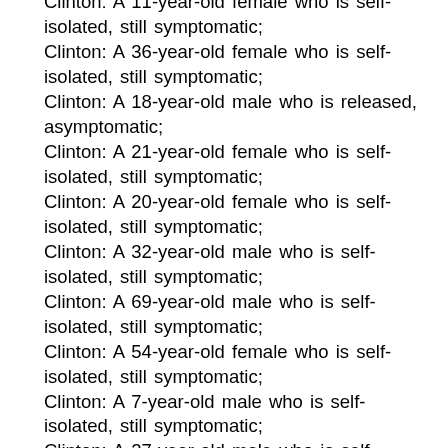Clinton: A 11-year-old female who is self-isolated, still symptomatic;
Clinton: A 36-year-old female who is self-isolated, still symptomatic;
Clinton: A 18-year-old male who is released, asymptomatic;
Clinton: A 21-year-old female who is self-isolated, still symptomatic;
Clinton: A 20-year-old female who is self-isolated, still symptomatic;
Clinton: A 32-year-old male who is self-isolated, still symptomatic;
Clinton: A 69-year-old male who is self-isolated, still symptomatic;
Clinton: A 54-year-old female who is self-isolated, still symptomatic;
Clinton: A 7-year-old male who is self-isolated, still symptomatic;
Clinton: A 27-year-old male who is self-isolated, still symptomatic;
Clinton: A 26-year-old female who is self-isolated, still symptomatic;